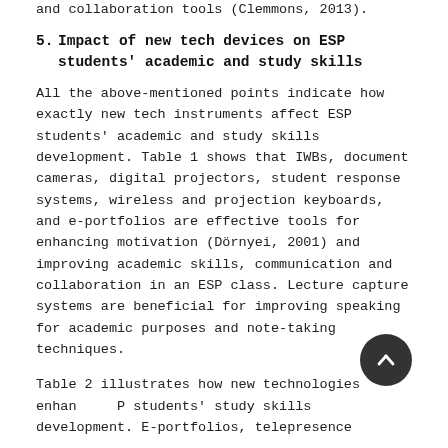and collaboration tools (Clemmons, 2013).
5. Impact of new tech devices on ESP students' academic and study skills
All the above-mentioned points indicate how exactly new tech instruments affect ESP students' academic and study skills development. Table 1 shows that IWBs, document cameras, digital projectors, student response systems, wireless and projection keyboards, and e-portfolios are effective tools for enhancing motivation (Dörnyei, 2001) and improving academic skills, communication and collaboration in an ESP class. Lecture capture systems are beneficial for improving speaking for academic purposes and note-taking techniques.
Table 2 illustrates how new technologies enhance ESP students' study skills development. E-portfolios, telepresence systems, lecture capture systems and web-conferencing with peers or teachers can extend learning